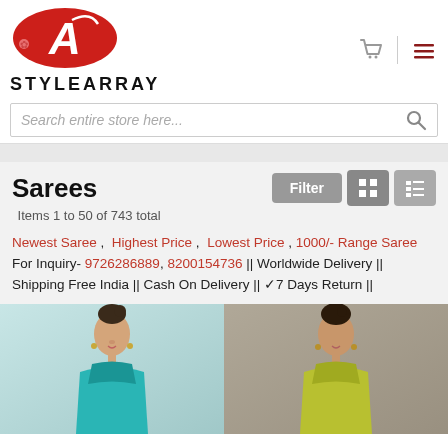[Figure (logo): StyleArray logo — red oval with white letter A and rose, with STYLEARRAY text below]
Search entire store here...
Sarees
Items 1 to 50 of 743 total
Newest Saree , Highest Price , Lowest Price , 1000/- Range Saree For Inquiry- 9726286889, 8200154736 || Worldwide Delivery || Shipping Free India || Cash On Delivery || ✓7 Days Return ||
[Figure (photo): Two product photos: left shows a woman in a teal/green saree with jewelry, right shows a woman in a golden-green saree]